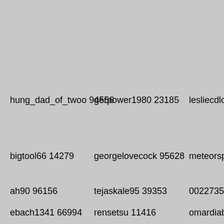hung_dad_of_twoo 94556
gerpower1980 23185
lesliecdlove 485
bigtool66 14279
georgelovecock 95628
meteorspeed 13
ah90 96156
tejaskale95 39353
00227356 7645
ebach1341 66994
rensetsu 11416
omardiab1991 2